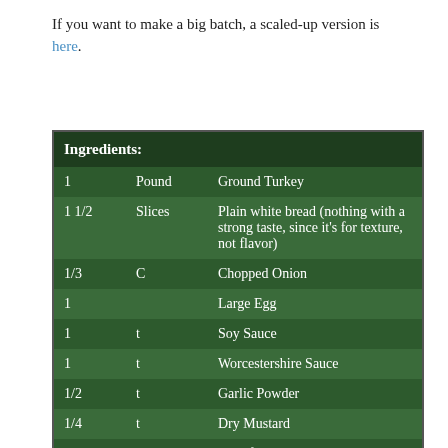If you want to make a big batch, a scaled-up version is here.
| Ingredients: |  |  |
| --- | --- | --- |
| 1 | Pound | Ground Turkey |
| 1 1/2 | Slices | Plain white bread (nothing with a strong taste, since it's for texture, not flavor) |
| 1/3 | C | Chopped Onion |
| 1 |  | Large Egg |
| 1 | t | Soy Sauce |
| 1 | t | Worcestershire Sauce |
| 1/2 | t | Garlic Powder |
| 1/4 | t | Dry Mustard |
| 1 | Jar | Your favorite spaghetti sauce |